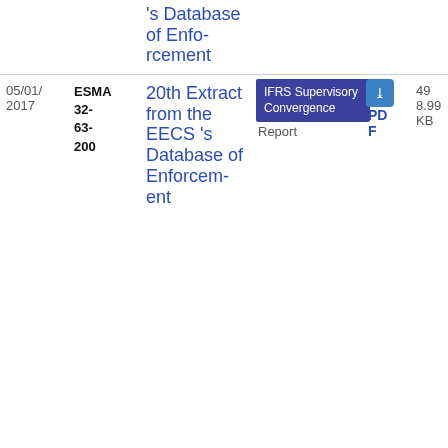| Date | Reference | Title | Type | Document | Size |
| --- | --- | --- | --- | --- | --- |
|  |  | ...'’s Database of Enforcement |  |  |  |
| 05/01/2017 | ESMA 32-63-200 | 20th Extract from the EECS’s Database of Enforcement | IFRS Supervisory Convergence / Report | PDF | 498.99 KB |